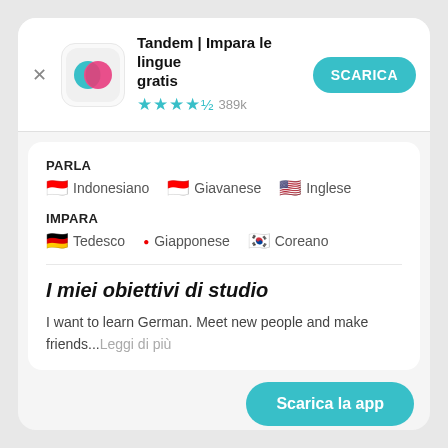[Figure (screenshot): Tandem app icon: overlapping teal and pink speech bubble circles on white rounded square background]
Tandem | Impara le lingue gratis
★★★★½ 389k
SCARICA
PARLA
🔴 Indonesiano   🔴 Giavanese   🇺🇸 Inglese
IMPARA
🇩🇪 Tedesco   • Giapponese   🇰🇷 Coreano
I miei obiettivi di studio
I want to learn German. Meet new people and make friends...Leggi di più
Scarica la app